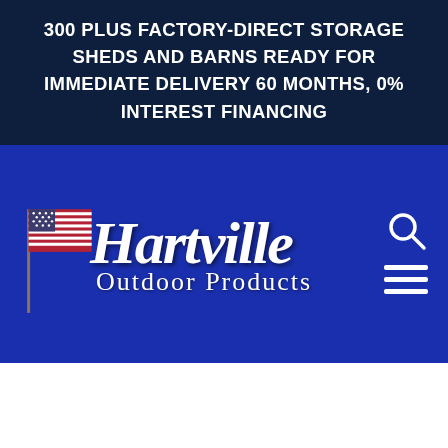300 PLUS FACTORY-DIRECT STORAGE SHEDS AND BARNS READY FOR IMMEDIATE DELIVERY 60 MONTHS, 0% INTEREST FINANCING
[Figure (logo): Hartville Outdoor Products logo with American flag and brand name in italic serif font]
[Figure (illustration): Navigation icons: magnifying glass search icon and hamburger menu (three horizontal lines)]